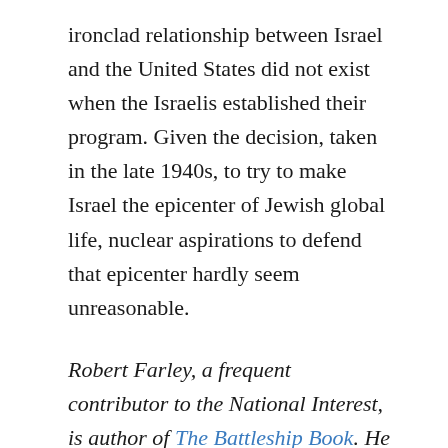ironclad relationship between Israel and the United States did not exist when the Israelis established their program. Given the decision, taken in the late 1940s, to try to make Israel the epicenter of Jewish global life, nuclear aspirations to defend that epicenter hardly seem unreasonable.
Robert Farley, a frequent contributor to the National Interest, is author of The Battleship Book. He serves as a Senior Lecturer at the Patterson School of Diplomacy and International Commerce at the University of Kentucky. His work includes military doctrine, national security, and maritime affairs. He blogs